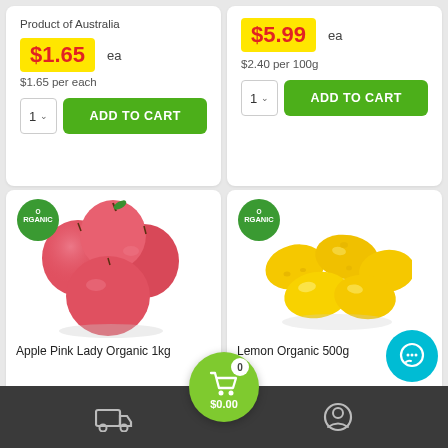Product of Australia
$1.65 ea
$1.65 per each
1  ADD TO CART
$5.99 ea
$2.40 per 100g
1  ADD TO CART
[Figure (photo): Organic badge and pile of red-pink apples (Pink Lady)]
Apple Pink Lady Organic 1kg
[Figure (photo): Organic badge and pile of yellow lemons]
Lemon Organic 500g
[Figure (illustration): Bottom navigation bar with delivery truck icon, green cart FAB showing 0 items and $0.00, and user profile icon]